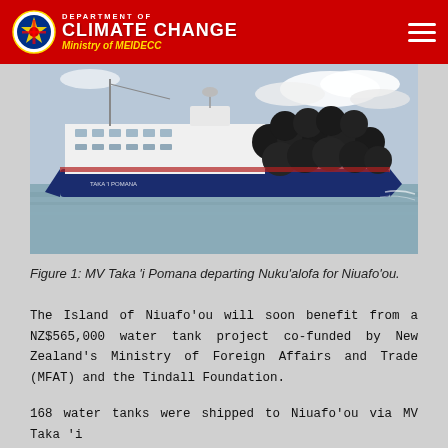DEPARTMENT OF CLIMATE CHANGE Ministry of MEIDECC
[Figure (photo): MV Taka i Pomana ship loaded with water tanks departing Nuku'alofa. Large blue and white ferry vessel carrying large black cylindrical tanks on deck, sailing on calm water.]
Figure 1: MV Taka 'i Pomana departing Nuku'alofa for Niuafo'ou.
The Island of Niuafo'ou will soon benefit from a NZ$565,000 water tank project co-funded by New Zealand's Ministry of Foreign Affairs and Trade (MFAT) and the Tindall Foundation.
168 water tanks were shipped to Niuafo'ou via MV Taka 'i